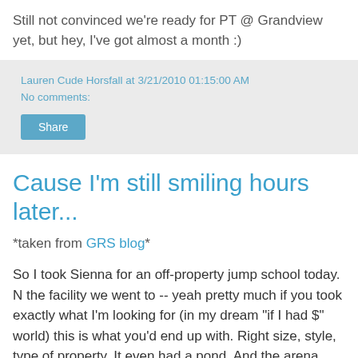Still not convinced we're ready for PT @ Grandview yet, but hey, I've got almost a month :)
Lauren Cude Horsfall at 3/21/2010 01:15:00 AM
No comments:
Share
Cause I'm still smiling hours later...
*taken from GRS blog*
So I took Sienna for an off-property jump school today. N the facility we went to -- yeah pretty much if you took exactly what I'm looking for (in my dream "if I had $" world) this is what you'd end up with. Right size, style, type of property. It even had a pond. And the arena was amazing. *sigh*
Anyways -- Si was pretty kewl when we got there. Took her a bit to chill out, but I was there super early to give her time to